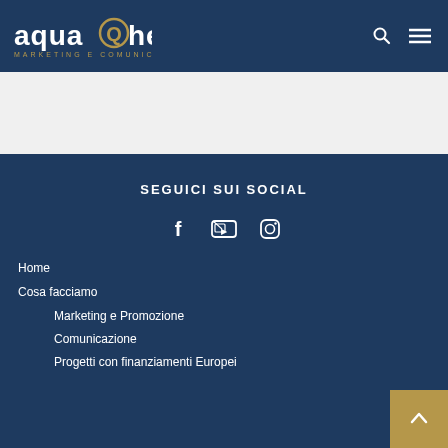[Figure (logo): aquaQheta MARKETING E COMUNICAZIONE logo with stylized Q in a circle, gold color accent]
aquaQheta MARKETING E COMUNICAZIONE
SEGUICI SUI SOCIAL
[Figure (infographic): Three social media icons: Facebook (f), YouTube (filmstrip icon), Instagram (camera icon)]
Home
Cosa facciamo
Marketing e Promozione
Comunicazione
Progetti con finanziamenti Europei